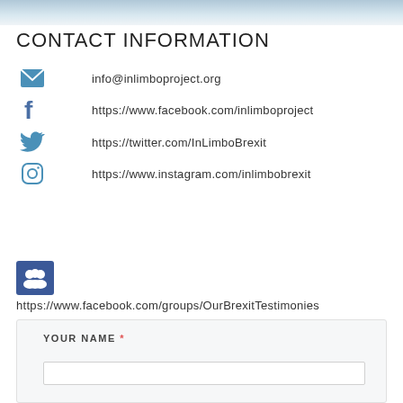[Figure (photo): Top banner image, light blue/grey mountain or sky background]
CONTACT INFORMATION
info@inlimboproject.org
https://www.facebook.com/inlimboproject
https://twitter.com/InLimboBrexit
https://www.instagram.com/inlimbobrexit
https://www.facebook.com/groups/OurBrexitTestimonies
YOUR NAME *